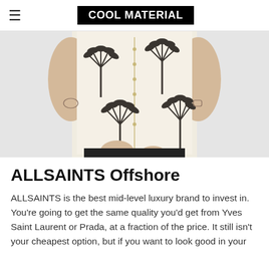COOL MATERIAL
[Figure (photo): Man wearing a cream/off-white short-sleeve button-up shirt with black palm tree print pattern. The person is shown from neck to waist, with both arms slightly out. They have tattoos on both forearms. They are wearing black pants.]
ALLSAINTS Offshore
ALLSAINTS is the best mid-level luxury brand to invest in. You're going to get the same quality you'd get from Yves Saint Laurent or Prada, at a fraction of the price. It still isn't your cheapest option, but if you want to look good in your